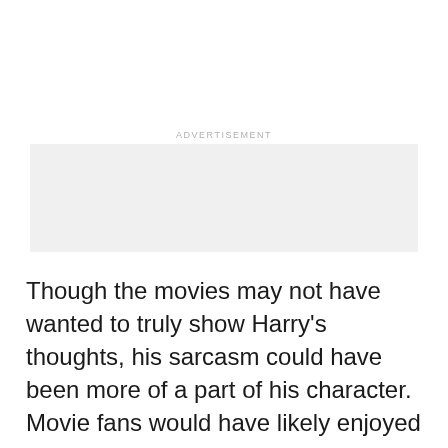[Figure (other): Advertisement placeholder box — light gray rectangle with 'ADVERTISEMENT' label above it]
Though the movies may not have wanted to truly show Harry's thoughts, his sarcasm could have been more of a part of his character. Movie fans would have likely enjoyed that, as it would've given the character a bit more of an edge. And that's often a good thing, especially